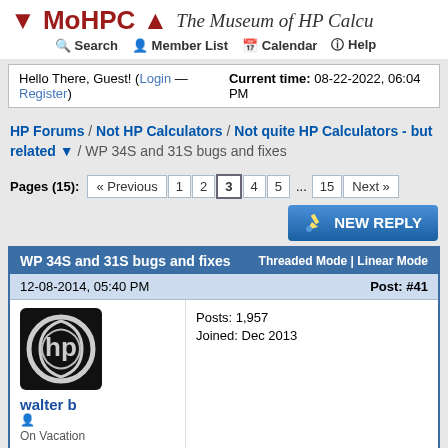↓ MoHPC ↑  The Museum of HP Calcu
Search  Member List  Calendar  Help
Hello There, Guest! (Login — Register)  Current time: 08-22-2022, 06:04 PM
HP Forums / Not HP Calculators / Not quite HP Calculators - but related ▼ / WP 34S and 31S bugs and fixes
Pages (15): « Previous  1  2  3  4  5  ...  15  Next »
NEW REPLY
WP 34S and 31S bugs and fixes   Threaded Mode | Linear Mode
12-08-2014, 05:40 PM  Post: #41
walter b
On Vacation
Posts: 1,957
Joined: Dec 2013
RE: WP 34S and 31S bugs and fixes
Nice ideas. Those errror messages are not featured yet, however.